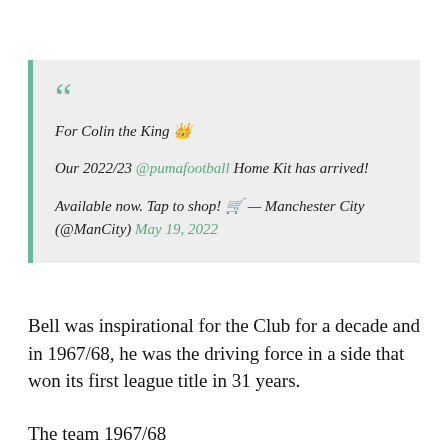For Colin the King 👑

Our 2022/23 @pumafootball Home Kit has arrived!

Available now. Tap to shop! 🛒 — Manchester City (@ManCity) May 19, 2022
Bell was inspirational for the Club for a decade and in 1967/68, he was the driving force in a side that won its first league title in 31 years.
The team 1967/68...